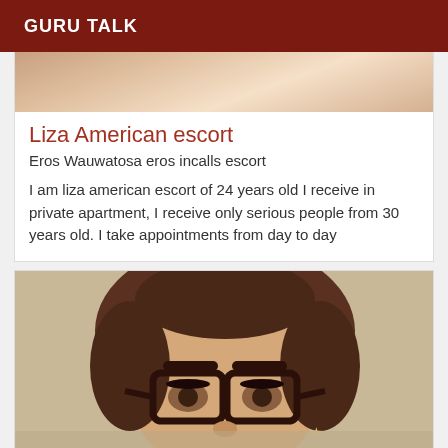GURU TALK
[Figure (photo): Partial photo of a person's hands/body, top of a listing card]
Liza American escort
Eros Wauwatosa eros incalls escort
I am liza american escort of 24 years old I receive in private apartment, I receive only serious people from 30 years old. I take appointments from day to day
[Figure (photo): Photo of a young woman with brown hair pulled up, wearing dark-framed glasses and a small star earring, looking at the camera]